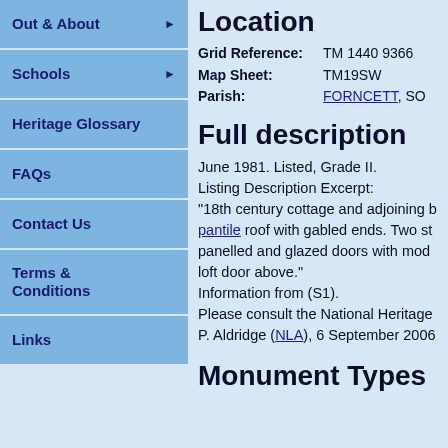Out & About
Schools
Heritage Glossary
FAQs
Contact Us
Terms & Conditions
Links
Location
| Grid Reference: | TM 1440 9366 |
| Map Sheet: | TM19SW |
| Parish: | FORNCETT, SO |
Full description
June 1981. Listed, Grade II.
Listing Description Excerpt:
"18th century cottage and adjoining b pantile roof with gabled ends. Two st panelled and glazed doors with mod loft door above."
Information from (S1).
Please consult the National Heritage P. Aldridge (NLA), 6 September 2006
Monument Types